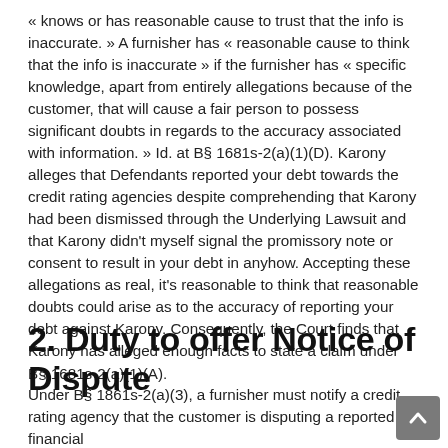« knows or has reasonable cause to trust that the info is inaccurate. » A furnisher has « reasonable cause to think that the info is inaccurate » if the furnisher has « specific knowledge, apart from entirely allegations because of the customer, that will cause a fair person to possess significant doubts in regards to the accuracy associated with information. » Id. at B§ 1681s-2(a)(1)(D). Karony alleges that Defendants reported your debt towards the credit rating agencies despite comprehending that Karony had been dismissed through the Underlying Lawsuit and that Karony didn't myself signal the promissory note or consent to result in your debt in anyhow. Accepting these allegations as real, it's reasonable to think that reasonable doubts could arise as to the accuracy of reporting your debt against Karony. Consequently, the Court finds that Karony has alleged enough facts to state a claim under B§ 1681s-2(a)(1)(A).
2. Duty to offer Notice of Dispute
Under B§ 1861s-2(a)(3), a furnisher must notify a credit rating agency that the customer is disputing a reported financial